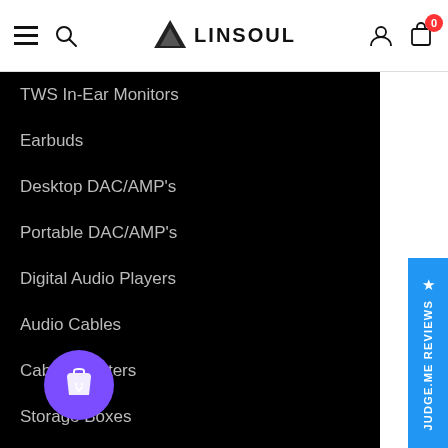LINSOUL — navigation header with hamburger menu, search, logo, user icon, cart (0)
TWS In-Ear Monitors
Earbuds
Desktop DAC/AMP's
Portable DAC/AMP's
Digital Audio Players
Audio Cables
Cable Adapters
Storage Boxes
POPULAR BRANDS
THIEAUDIO
Gold Planar
TinHiFi
DDHiFi
Tripowin
HarmonicDyne
Shuoer
Blon